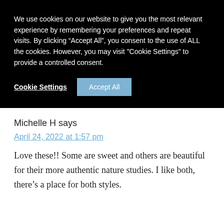We use cookies on our website to give you the most relevant experience by remembering your preferences and repeat visits. By clicking “Accept All”, you consent to the use of ALL the cookies. However, you may visit "Cookie Settings" to provide a controlled consent.
Cookie Settings
Accept All
Michelle H says
April 24, 2022 at 1:57 pm
Love these!! Some are sweet and others are beautiful for their more authentic nature studies. I like both, there’s a place for both styles.